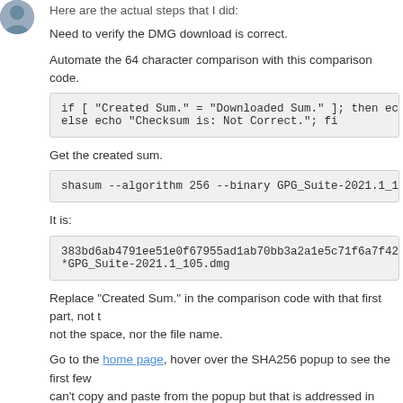Here are the actual steps that I did:
Need to verify the DMG download is correct.
Automate the 64 character comparison with this comparison code.
if [ "Created Sum." = "Downloaded Sum." ]; then ec
else echo "Checksum is: Not Correct."; fi
Get the created sum.
shasum --algorithm 256 --binary GPG_Suite-2021.1_1
It is:
383bd6ab4791ee51e0f67955ad1ab70bb3a2a1e5c71f6a7f42
*GPG_Suite-2021.1_105.dmg
Replace "Created Sum." in the comparison code with that first part, not the space, nor the file name.
Go to the home page, hover over the SHA256 popup to see the first few digits. You can't copy and paste from the popup but that is addressed in another re source, and search for "SHA256", find the first few digits (it will be obvious) entire value, and replace "Downloaded Sum." with it in the comparison c